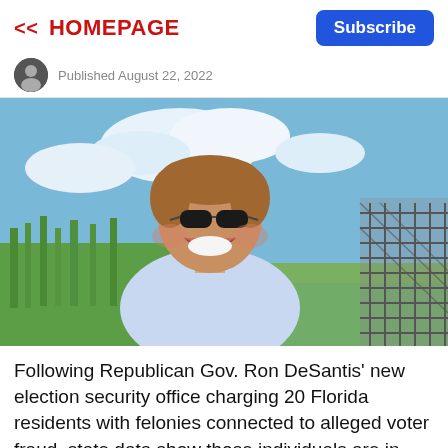<< HOMEPAGE
Subscribe
Published August 22, 2022
[Figure (photo): Smiling man wearing sunglasses and a light blue shirt, laughing outdoors near water and tall grass with an airboat fan cage visible in the background.]
Following Republican Gov. Ron DeSantis' new election security office charging 20 Florida residents with felonies connected to alleged voter fraud, state data show those individuals are in Florida's largest